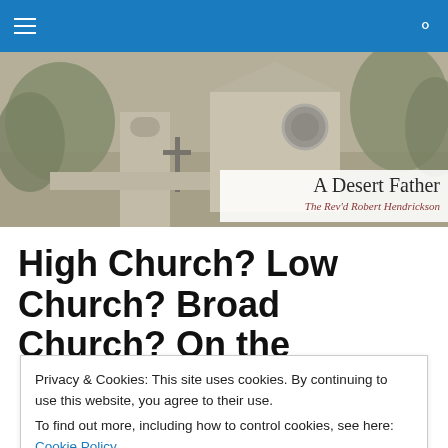[Navigation bar with hamburger menu and search icon]
[Figure (photo): Black and white photo of a desert church/mission building with trees, cross, and bell tower. Overlay text reads 'A Desert Father' and 'The Rev'd Robert Hendrickson']
High Church? Low Church? Broad Church? On the
Privacy & Cookies: This site uses cookies. By continuing to use this website, you agree to their use. To find out more, including how to control cookies, see here: Cookie Policy
Close and accept